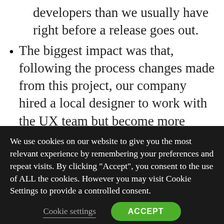developers than we usually have right before a release goes out.
The biggest impact was that, following the process changes made from this project, our company hired a local designer to work with the UX team but become more closely integrated in the engineering technical space. Within his first month of work in our office, all five developer teams have made use of him either in new design or providing
We use cookies on our website to give you the most relevant experience by remembering your preferences and repeat visits. By clicking “Accept”, you consent to the use of ALL the cookies. However you may visit Cookie Settings to provide a controlled consent.